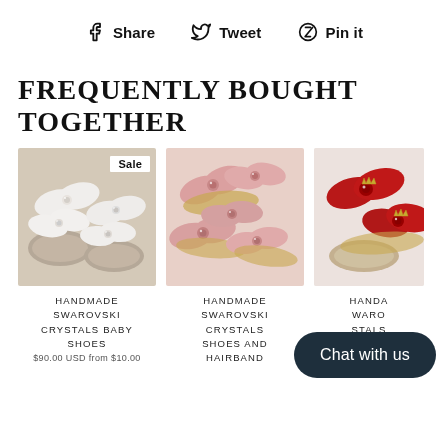f Share   Tweet   Pin it
FREQUENTLY BOUGHT TOGETHER
[Figure (photo): Handmade Swarovski crystals baby shoes with white satin bows and crystal embellishments, Sale badge]
HANDMADE SWAROVSKI CRYSTALS BABY SHOES
$90.00 USD from $10.00
[Figure (photo): Handmade Swarovski crystals baby shoes and hairband set with pink satin bows]
HANDMADE SWAROVSKI CRYSTALS SHOES AND HAIRBAND
[Figure (photo): Handmade Swarovski crystals baby shoes with red satin bows and crown embellishment, partially visible]
HANDMADE SWAROVSKI CRYSTALS BABY S...